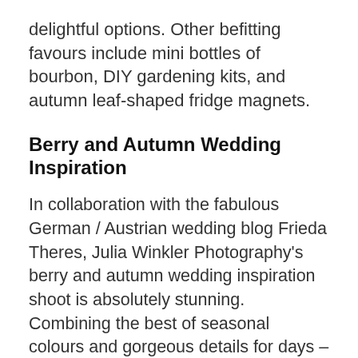delightful options. Other befitting favours include mini bottles of bourbon, DIY gardening kits, and autumn leaf-shaped fridge magnets.
Berry and Autumn Wedding Inspiration
In collaboration with the fabulous German / Austrian wedding blog Frieda Theres, Julia Winkler Photography's berry and autumn wedding inspiration shoot is absolutely stunning. Combining the best of seasonal colours and gorgeous details for days – this editorial truly showcases the beauty of the season.
Berry hued autumn wedding tablescape | Julia Winkler Photography | see more on: